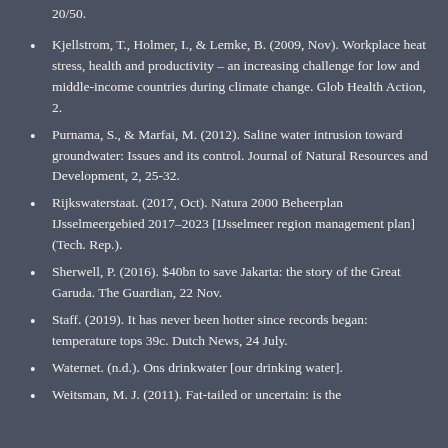20/50.
Kjellstrom, T., Holmer, I., & Lemke, B. (2009, Nov). Workplace heat stress, health and productivity – an increasing challenge for low and middle-income countries during climate change. Glob Health Action, 2.
Purnama, S., & Marfai, M. (2012). Saline water intrusion toward groundwater: Issues and its control. Journal of Natural Resources and Development, 2, 25-32.
Rijkswaterstaat. (2017, Oct). Natura 2000 Beheerplan IJsselmeergebied 2017–2023 [IJsselmeer region management plan] (Tech. Rep.).
Sherwell, P. (2016). $40bn to save Jakarta: the story of the Great Garuda. The Guardian, 22 Nov.
Staff. (2019). It has never been hotter since records began: temperature tops 39c. Dutch News, 24 July.
Waternet. (n.d.). Ons drinkwater [our drinking water].
Weitsman, M. J. (2011). Fat-tailed or uncertain: is the...